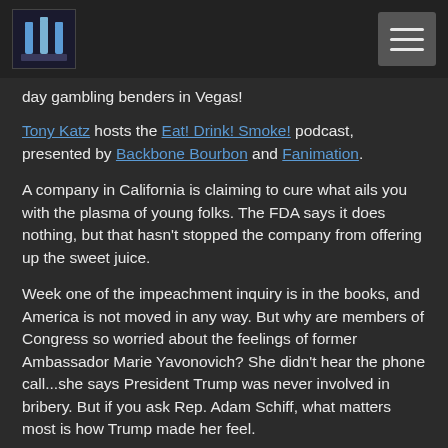[Logo] [Menu icon]
day gambling benders in Vegas!
Tony Katz hosts the Eat! Drink! Smoke! podcast, presented by Backbone Bourbon and Fanimation.
A company in California is claiming to cure what ails you with the plasma of young folks. The FDA says it does nothing, but that hasn't stopped the company from offering up the sweet juice.
Week one of the impeachment inquiry is in the books, and America is not moved in any way. But why are members of Congress so worried about the feelings of former Ambassador Marie Yavonovich? She didn't hear the phone call...she says President Trump was never involved in bribery. But if you ask Rep. Adam Schiff, what matters most is how Trump made her feel.
Yes, Fingers Malloy loves Las Vegas in an almost improper